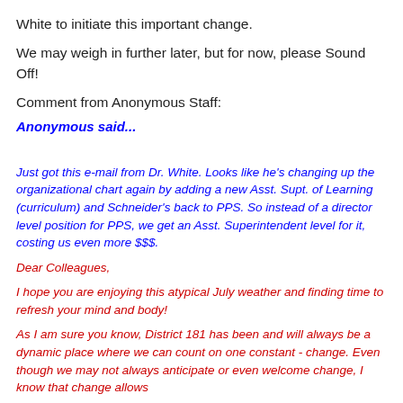White to initiate this important change.
We may weigh in further later, but for now, please Sound Off!
Comment from Anonymous Staff:
Anonymous said...
Just got this e-mail from Dr. White. Looks like he's changing up the organizational chart again by adding a new Asst. Supt. of Learning (curriculum) and Schneider's back to PPS. So instead of a director level position for PPS, we get an Asst. Superintendent level for it, costing us even more $$$.
Dear Colleagues,
I hope you are enjoying this atypical July weather and finding time to refresh your mind and body!
As I am sure you know, District 181 has been and will always be a dynamic place where we can count on one constant - change. Even though we may not always anticipate or even welcome change, I know that change allows